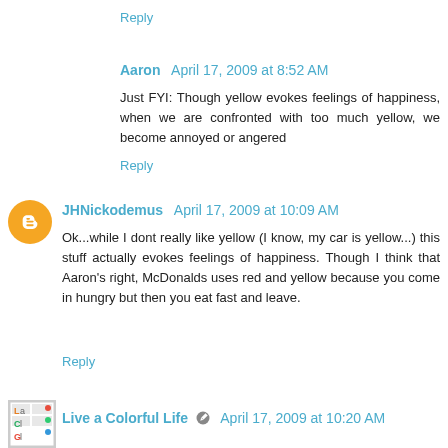Reply
Aaron  April 17, 2009 at 8:52 AM
Just FYI: Though yellow evokes feelings of happiness, when we are confronted with too much yellow, we become annoyed or angered
Reply
JHNickodemus  April 17, 2009 at 10:09 AM
Ok...while I dont really like yellow (I know, my car is yellow...) this stuff actually evokes feelings of happiness. Though I think that Aaron's right, McDonalds uses red and yellow because you come in hungry but then you eat fast and leave.
Reply
Live a Colorful Life  April 17, 2009 at 10:20 AM